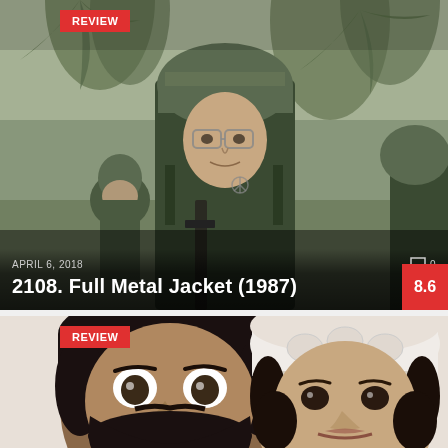[Figure (photo): Movie still from Full Metal Jacket (1987) showing soldiers in Vietnam jungle, main soldier wearing helmet and glasses holding rifle]
REVIEW
APRIL 6, 2018
0
2108. Full Metal Jacket (1987)
8.6
[Figure (photo): Second movie card showing two people faces - man with wide eyes and beard on left, woman with white floral headpiece on right]
REVIEW